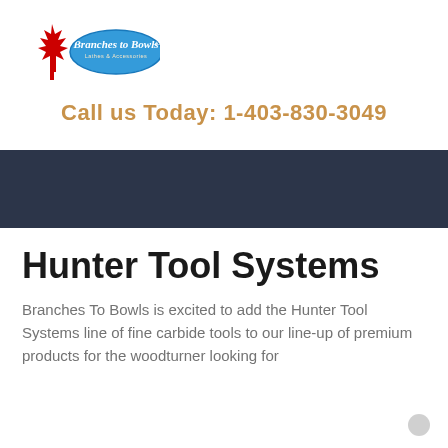[Figure (logo): Branches to Bowls Ltd. Lathes & Accessories logo with a red maple leaf on the left and a blue ellipse containing the company name on the right]
Call us Today: 1-403-830-3049
[Figure (other): Dark navy/charcoal horizontal banner bar used as a navigation or decorative element]
Hunter Tool Systems
Branches To Bowls is excited to add the Hunter Tool Systems line of fine carbide tools to our line-up of premium products for the woodturner looking for